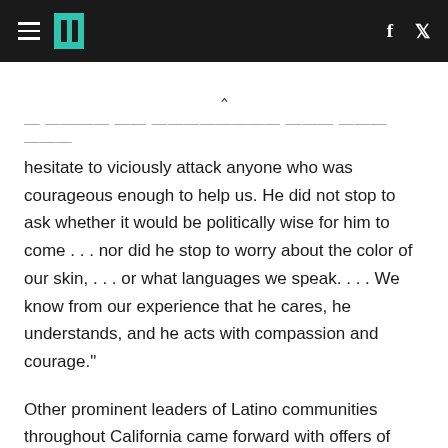HuffPost navigation header with logo, facebook and twitter icons
— surrounded by personal enemies who did not hesitate to viciously attack anyone who was courageous enough to help us. He did not stop to ask whether it would be politically wise for him to come . . . nor did he stop to worry about the color of our skin, . . . or what languages we speak. . . . We know from our experience that he cares, he understands, and he acts with compassion and courage."
Other prominent leaders of Latino communities throughout California came forward with offers of help. In addition to Chavez, Bert Corona of the